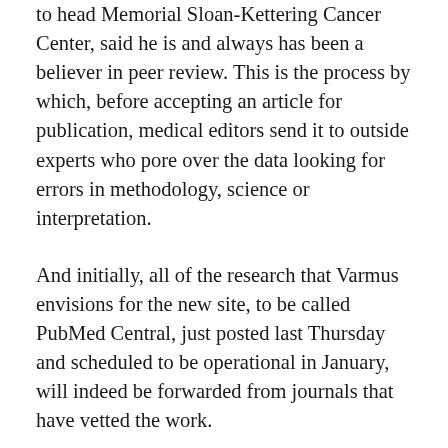to head Memorial Sloan-Kettering Cancer Center, said he is and always has been a believer in peer review. This is the process by which, before accepting an article for publication, medical editors send it to outside experts who pore over the data looking for errors in methodology, science or interpretation.
And initially, all of the research that Varmus envisions for the new site, to be called PubMed Central, just posted last Thursday and scheduled to be operational in January, will indeed be forwarded from journals that have vetted the work.
This research – in biology, medicine, agriculture, and plant sciences – could be posted after publication in a major journal, which nobody objects to. Or before it appears in print, which